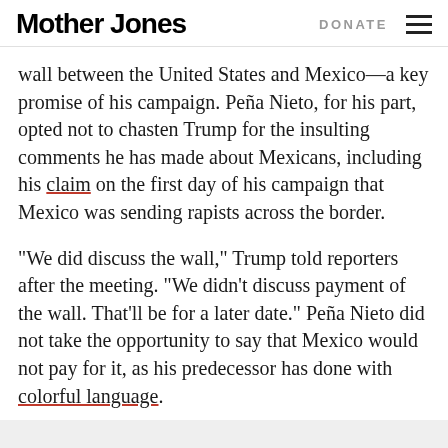Mother Jones | DONATE
wall between the United States and Mexico—a key promise of his campaign. Peña Nieto, for his part, opted not to chasten Trump for the insulting comments he has made about Mexicans, including his claim on the first day of his campaign that Mexico was sending rapists across the border.
“We did discuss the wall,” Trump told reporters after the meeting. “We didn’t discuss payment of the wall. That’ll be for a later date.” Peña Nieto did not take the opportunity to say that Mexico would not pay for it, as his predecessor has done with colorful language.